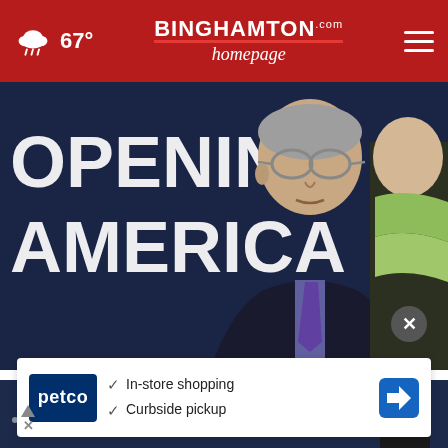67° | Binghamton Homepage
[Figure (photo): Dr. Fauci standing in front of a banner reading 'OPENING AMERICA', wearing a dark suit and purple tie with glasses, another person partially visible behind him wearing a green scarf.]
Fauci and Birx at odds over angry encounter with Pence
[Figure (photo): Partial second news article image, dark background with a figure visible, overlaid with a Petco advertisement banner showing in-store shopping and curbside pickup options.]